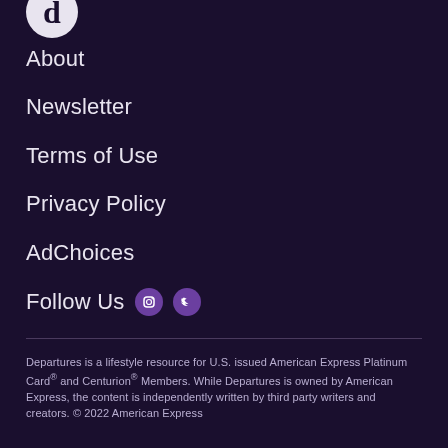[Figure (logo): Departures magazine logo - letter D in white circle]
About
Newsletter
Terms of Use
Privacy Policy
AdChoices
Follow Us
Departures is a lifestyle resource for U.S. issued American Express Platinum Card® and Centurion® Members. While Departures is owned by American Express, the content is independently written by third party writers and creators. © 2022 American Express